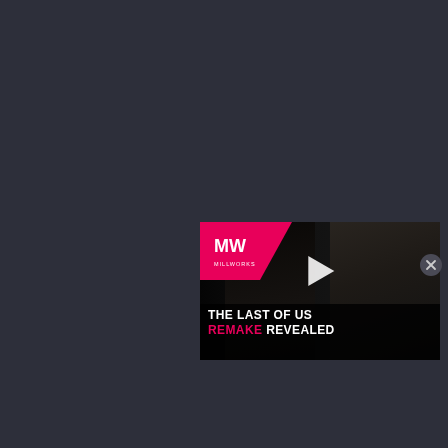[Figure (screenshot): Dark grey webpage background with a video widget thumbnail in the lower right showing 'The Last of Us Remake Revealed' with MW (Millworks) logo, play button, and two characters. A close (X) button appears in the upper right of the widget.]